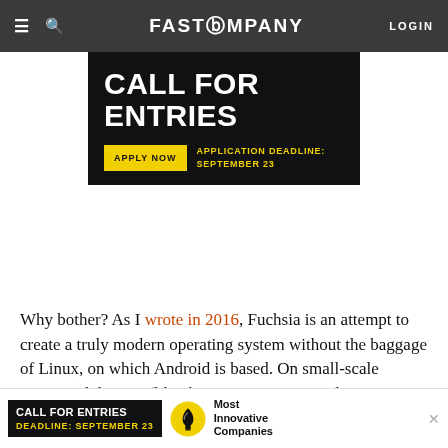Fast Company navigation bar with hamburger menu, search icon, FAST COMPANY logo, LOGIN
[Figure (infographic): Black background advertisement: CALL FOR ENTRIES in large white bold text. Yellow APPLY NOW button with yellow text: APPLICATION DEADLINE: SEPTEMBER 23]
Why bother? As I wrote in 2016, Fuchsia is an attempt to create a truly modern operating system without the baggage of Linux, on which Android is based. On small-scale connected devices (like thermostats, connected cameras, and so on), it would require less code and would, therefore, be less prone to security vulnerabilities. On phones and computers, it could
[Figure (infographic): Bottom banner ad: black background with CALL FOR ENTRIES, DEADLINE: SEPTEMBER 23 in yellow, lightbulb icon, Most Innovative Companies text]